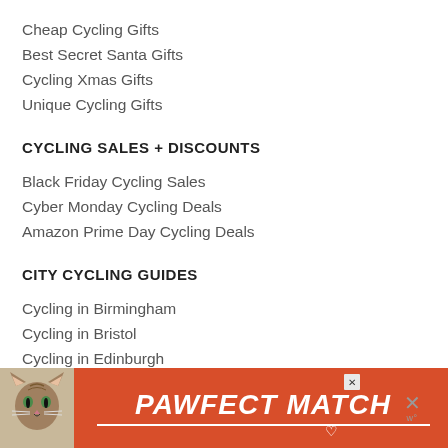Cheap Cycling Gifts
Best Secret Santa Gifts
Cycling Xmas Gifts
Unique Cycling Gifts
CYCLING SALES + DISCOUNTS
Black Friday Cycling Sales
Cyber Monday Cycling Deals
Amazon Prime Day Cycling Deals
CITY CYCLING GUIDES
Cycling in Birmingham
Cycling in Bristol
Cycling in Edinburgh
Cycling in Exeter
Cycling in Leicester
[Figure (infographic): Advertisement banner for PAWFECT MATCH with an orange-red background, a cat photo on the left, bold white italic text reading PAWFECT MATCH with a white underline, a close X button, and a W logo on the right.]